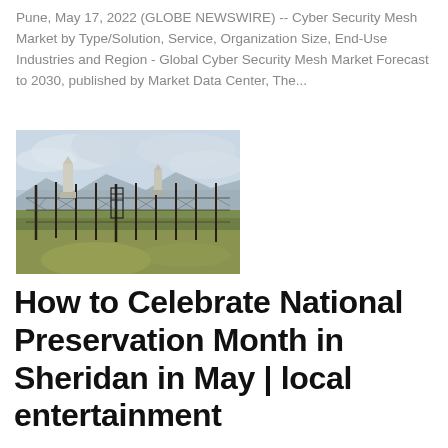Pune, May 17, 2022 (GLOBE NEWSWIRE) -- Cyber Security Mesh Market by Type/Solution, Service, Organization Size, End-Use Industries and Region - Global Cyber Security Mesh Market Forecast to 2030, published by Market Data Center, The...
[Figure (photo): Outdoor photo of a cemetery or historic site with an iron fence, a stone monument or obelisk, and grassy terrain under a cloudy sky with distant mountains.]
How to Celebrate National Preservation Month in Sheridan in May | local entertainment